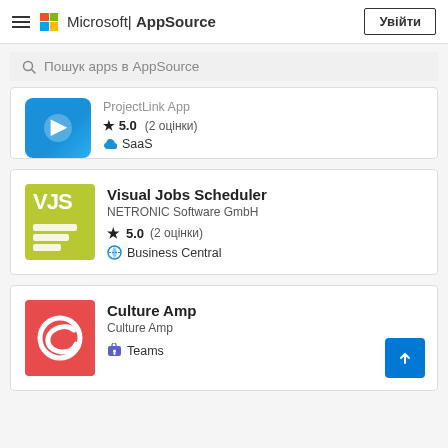Microsoft | AppSource   Увійти
Пошук apps в AppSource
[Figure (screenshot): Partial app listing card showing a blue SaaS app icon, star rating 5.0 (2 оцінки), SaaS badge]
[Figure (screenshot): Visual Jobs Scheduler app card - NETRONIC Software GmbH, Business Central, 5.0 (2 оцінки)]
[Figure (screenshot): Culture Amp app card - Culture Amp publisher, Teams badge]